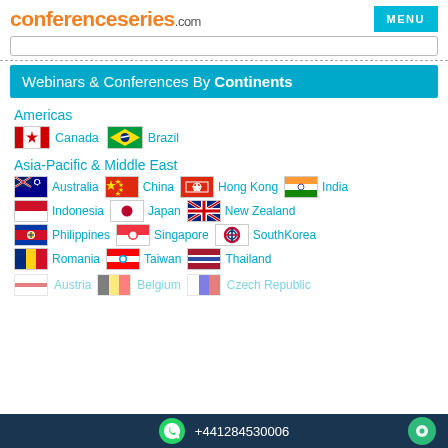conferenceseries.com
Webinars & Conferences By Continents
Americas
Canada
Brazil
Asia-Pacific & Middle East
Australia
China
Hong Kong
India
Indonesia
Japan
New Zealand
Philippines
Singapore
SouthKorea
Romania
Taiwan
Thailand
+441284530006
Austria  Belgium  Czech Republic